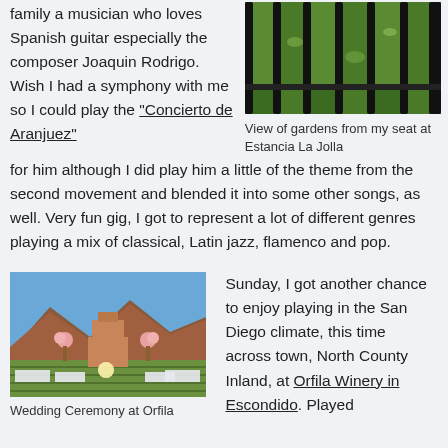family a musician who loves Spanish guitar especially the composer Joaquin Rodrigo. Wish I had a symphony with me so I could play the "Concierto de Aranjuez" for him although I did play him a little of the theme from the second movement and blended it into some other songs, as well. Very fun gig, I got to represent a lot of different genres playing a mix of classical, Latin jazz, flamenco and pop.
[Figure (photo): Aerial/overhead view of green gardens through dark iron bars/fence at Estancia La Jolla]
View of gardens from my seat at Estancia La Jolla
[Figure (photo): Wedding ceremony setup at Orfila Winery, Escondido, with mountains in background, tables with white linens, flowers and a round lantern]
Wedding Ceremony at Orfila
Sunday, I got another chance to enjoy playing in the San Diego climate, this time across town, North County Inland, at Orfila Winery in Escondido. Played